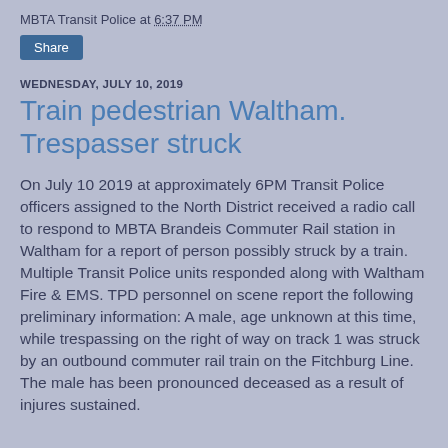MBTA Transit Police at 6:37 PM
[Figure (other): Share button (dark blue rounded rectangle with white text 'Share')]
WEDNESDAY, JULY 10, 2019
Train pedestrian Waltham. Trespasser struck
On July 10 2019 at approximately 6PM Transit Police officers assigned to the North District received a radio call to respond to MBTA Brandeis Commuter Rail station in Waltham for a report of person possibly struck by a train. Multiple Transit Police units responded along with Waltham Fire & EMS. TPD personnel on scene report the following preliminary information: A male, age unknown at this time, while trespassing on the right of way on track 1 was struck by an outbound commuter rail train on the Fitchburg Line. The male has been pronounced deceased as a result of injures sustained.